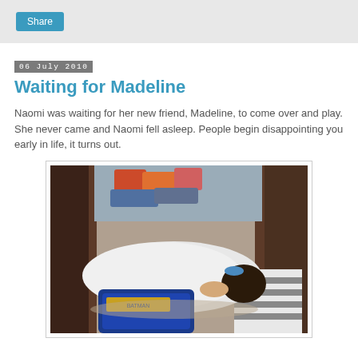Share
06 July 2010
Waiting for Madeline
Naomi was waiting for her new friend, Madeline, to come over and play. She never came and Naomi fell asleep. People begin disappointing you early in life, it turns out.
[Figure (photo): A child lying asleep on the floor near a doorway, covered with a white blanket, with a colorful bag beneath them and a striped rug visible nearby.]